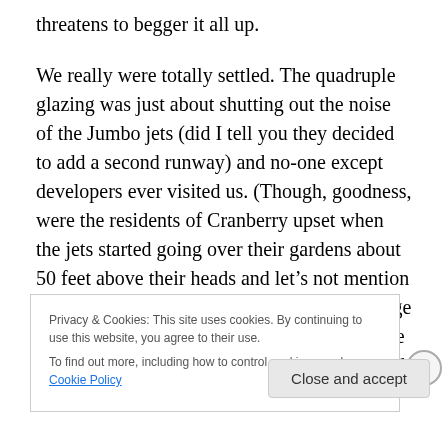threatens to begger it all up.
We really were totally settled. The quadruple glazing was just about shutting out the noise of the Jumbo jets (did I tell you they decided to add a second runway) and no-one except developers ever visited us. (Though, goodness, were the residents of Cranberry upset when the jets started going over their gardens about 50 feet above their heads and let's not mention that unfortunate incident when the toilet flange fell off just before landing. Then they read the small print in their deeds and found that it had all been
Privacy & Cookies: This site uses cookies. By continuing to use this website, you agree to their use.
To find out more, including how to control cookies, see here: Cookie Policy
Close and accept